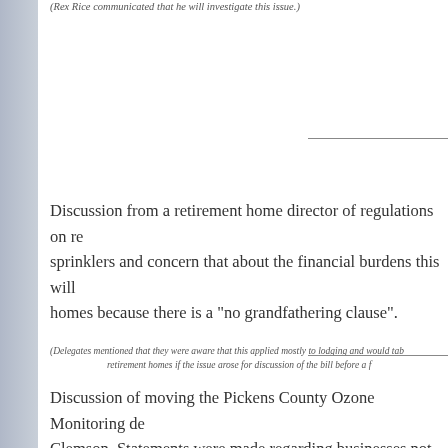(Rex Rice communicated that he will investigate this issue.)
Discussion from a retirement home director of regulations on re- sprinklers and concern that about the financial burdens this will homes because there is a "no grandfathering clause".
(Delegates mentioned that they were aware that this applied mostly to lodging and would tab retirement homes if the issue arose for discussion of the bill before a f
Discussion of moving the Pickens County Ozone Monitoring de Clemson. Statements were made regarding businesses not loc the poor measurement and that Clemson is not an accurate po Pickens County.